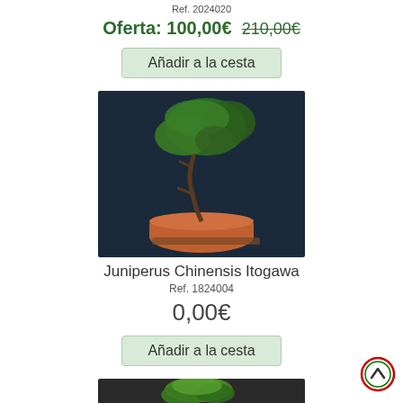Ref. 2024020
Oferta: 100,00€  210,00€
Añadir a la cesta
[Figure (photo): Bonsai Juniperus Chinensis in a terracotta pot against a dark blue background]
Juniperus Chinensis Itogawa
Ref. 1824004
0,00€
Añadir a la cesta
[Figure (photo): Bonsai tree with exposed roots in a shallow oval pot against a dark background]
[Figure (other): Scroll-to-top button with red and green circular border and upward chevron]